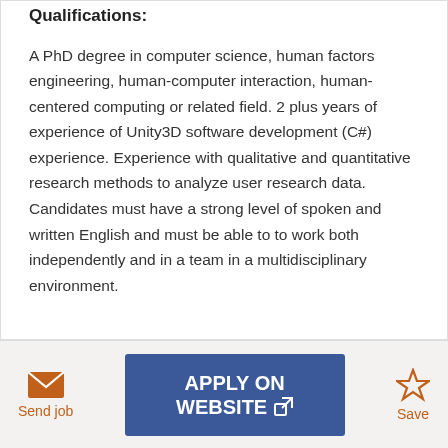Qualifications:
A PhD degree in computer science, human factors engineering, human-computer interaction, human-centered computing or related field. 2 plus years of experience of Unity3D software development (C#) experience. Experience with qualitative and quantitative research methods to analyze user research data. Candidates must have a strong level of spoken and written English and must be able to work both independently and in a team in a multidisciplinary environment.
Send job
APPLY ON WEBSITE
Save